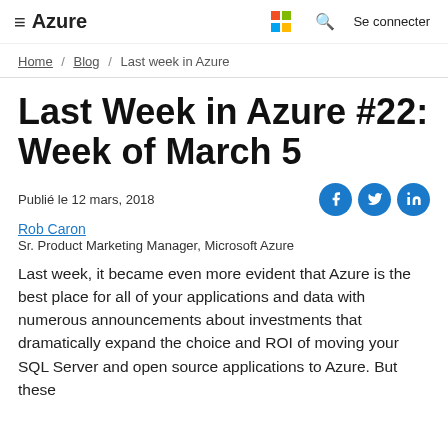≡ Azure | Microsoft logo | search | Se connecter
Home / Blog / Last week in Azure
Last Week in Azure #22: Week of March 5
Publié le 12 mars, 2018
Rob Caron
Sr. Product Marketing Manager, Microsoft Azure
Last week, it became even more evident that Azure is the best place for all of your applications and data with numerous announcements about investments that dramatically expand the choice and ROI of moving your SQL Server and open source applications to Azure. But these